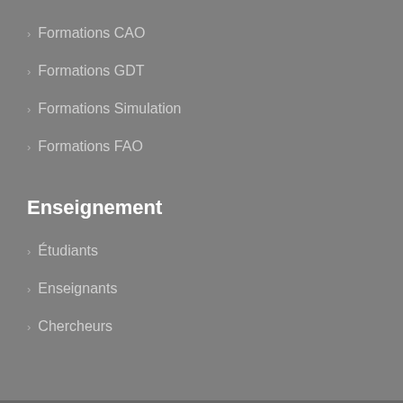Formations CAO
Formations GDT
Formations Simulation
Formations FAO
Enseignement
Étudiants
Enseignants
Chercheurs